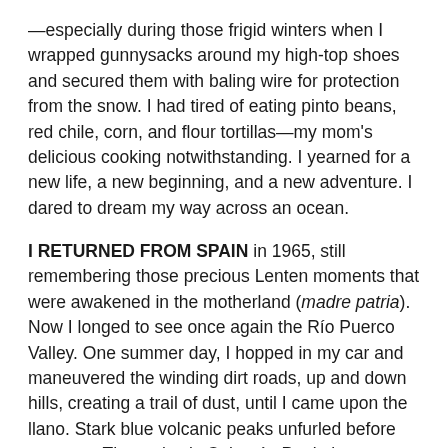—especially during those frigid winters when I wrapped gunnysacks around my high-top shoes and secured them with baling wire for protection from the snow. I had tired of eating pinto beans, red chile, corn, and flour tortillas—my mom's delicious cooking notwithstanding. I yearned for a new life, a new beginning, and a new adventure. I dared to dream my way across an ocean.
I RETURNED FROM SPAIN in 1965, still remembering those precious Lenten moments that were awakened in the motherland (madre patria). Now I longed to see once again the Río Puerco Valley. One summer day, I hopped in my car and maneuvered the winding dirt roads, up and down hills, creating a trail of dust, until I came upon the llano. Stark blue volcanic peaks unfurled before my eyes. The majestic Cabezón Peak, known as Black Rock among our benevolent Navajo neighbors, stood proudly. Looming on the horizon were the prominent Twin Peaks (Cerros Cuates)—Cerro Santa Clara and Cerro Guadalupe. Little by little, the countryside where long ago I had enjoyed